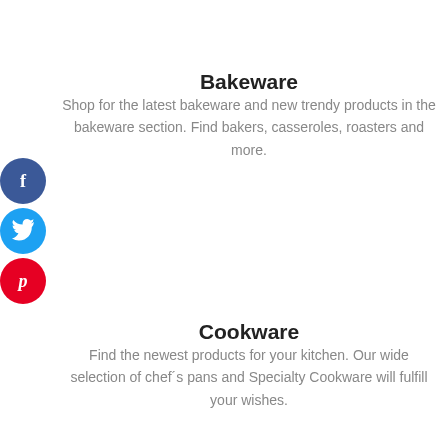Bakeware
Shop for the latest bakeware and new trendy products in the bakeware section. Find bakers, casseroles, roasters and more.
[Figure (illustration): Three circular social media buttons stacked vertically on the left side: Facebook (dark blue with 'f'), Twitter (light blue with bird icon), Pinterest (red with 'p')]
Cookware
Find the newest products for your kitchen. Our wide selection of chef´s pans and Specialty Cookware will fulfill your wishes.